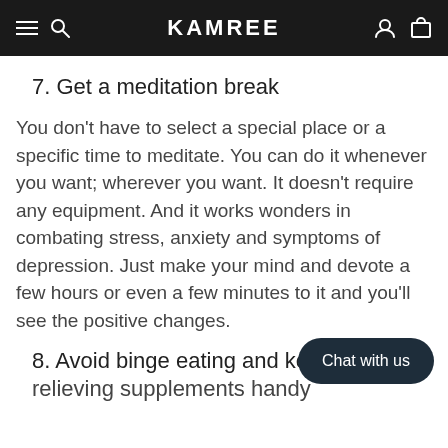KAMREE
7. Get a meditation break
You don't have to select a special place or a specific time to meditate. You can do it whenever you want; wherever you want. It doesn't require any equipment. And it works wonders in combating stress, anxiety and symptoms of depression. Just make your mind and devote a few hours or even a few minutes to it and you'll see the positive changes.
8. Avoid binge eating and keep stress-relieving supplements handy